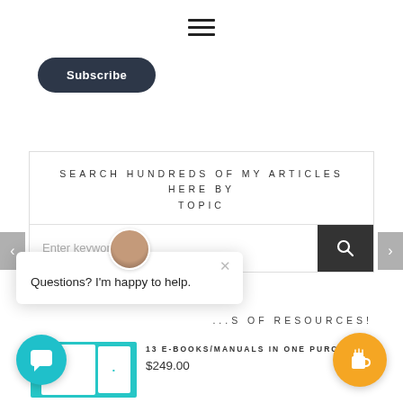[Figure (illustration): Hamburger menu icon — three horizontal lines stacked]
[Figure (illustration): Subscribe button — dark rounded rectangle with white text 'Subscribe']
[Figure (illustration): Left navigation arrow on grey background]
[Figure (illustration): Right navigation arrow on grey background]
SEARCH HUNDREDS OF MY ARTICLES HERE BY TOPIC
Enter keywords
...S OF RESOURCES!
[Figure (photo): Chat avatar: circular portrait photo of a woman]
Questions? I'm happy to help.
13 E-BOOKS/MANUALS IN ONE PURCH...
$249.00
[Figure (illustration): Chat launcher button — teal circle with speech bubble icon]
[Figure (illustration): Buy me a coffee button — orange circle with coffee cup icon]